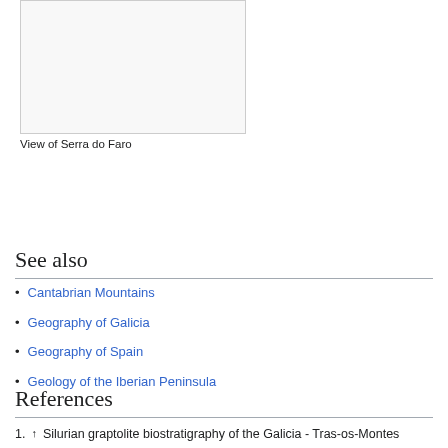[Figure (photo): Photograph placeholder: View of Serra do Faro]
View of Serra do Faro
See also
Cantabrian Mountains
Geography of Galicia
Geography of Spain
Geology of the Iberian Peninsula
References
1. ↑ Silurian graptolite biostratigraphy of the Galicia - Tras-os-Montes